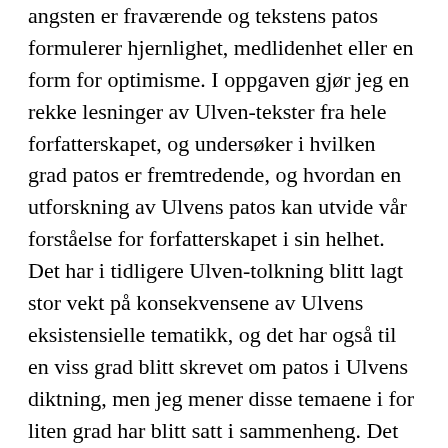angsten er fraværende og tekstens patos formulerer hjernlighet, medlidenhet eller en form for optimisme. I oppgaven gjør jeg en rekke lesninger av Ulven-tekster fra hele forfatterskapet, og undersøker i hvilken grad patos er fremtredende, og hvordan en utforskning av Ulvens patos kan utvide vår forståelse for forfatterskapet i sin helhet. Det har i tidligere Ulven-tolkning blitt lagt stor vekt på konsekvensene av Ulvens eksistensielle tematikk, og det har også til en viss grad blitt skrevet om patos i Ulvens diktning, men jeg mener disse temaene i for liten grad har blitt satt i sammenheng. Det er dette jeg ønsker å gjøre i denne oppgaven, men hensikt å introdusere alternative måter å lese Ulven på. Mens Ulvens forfatterskap på ingen måte kan karakteriseres som oppløftende og optimistiske, inneholder det likevel flere kilder til varme og medmenneskelighet enn den pessimistisk-eksistensielle tematikken kanskje indikerer.
Tor Ulven (1953-1995) was a Norwegian writer. He debuted in 1977 with the poetry collection Skyggen av urfuglen, and